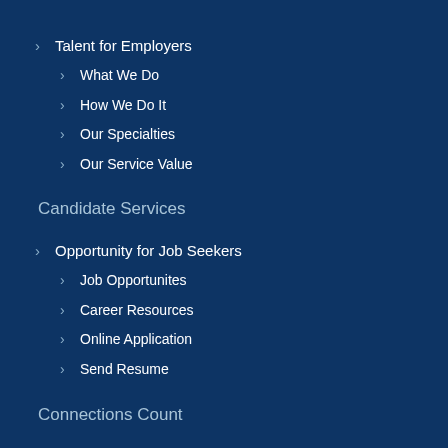Talent for Employers
What We Do
How We Do It
Our Specialties
Our Service Value
Candidate Services
Opportunity for Job Seekers
Job Opportunites
Career Resources
Online Application
Send Resume
Connections Count
Connect With Us